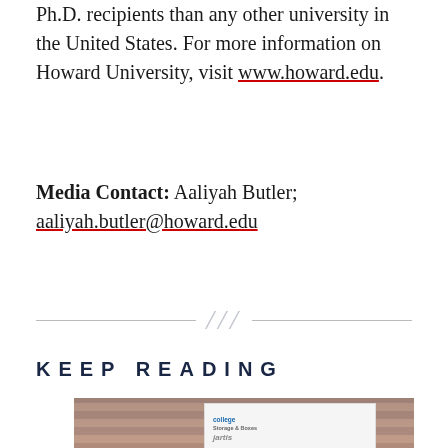Ph.D. recipients than any other university in the United States. For more information on Howard University, visit www.howard.edu.
Media Contact: Aaliyah Butler; aaliyah.butler@howard.edu
KEEP READING
[Figure (photo): Photo of people moving in on a college campus. A young man and an adult man are pushing a cart with boxes and supplies. A white truck with college branding is visible in the background along with a brick building.]